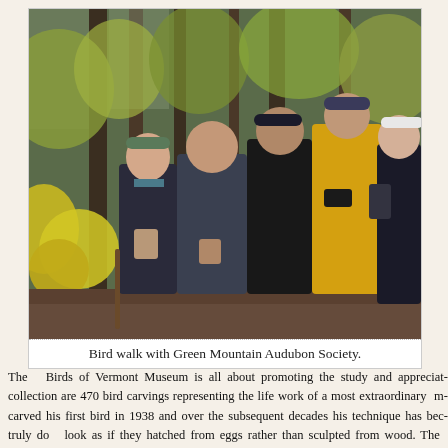[Figure (photo): Group of five people standing together outdoors in a forest setting with autumn foliage. They are on a bird walk with the Green Mountain Audubon Society.]
Bird walk with Green Mountain Audubon Society.
The Birds of Vermont Museum is all about promoting the study and appreciat... collection are 470 bird carvings representing the life work of a most extraordinary m... carved his first bird in 1938 and over the subsequent decades his technique has bec... truly do look as if they hatched from eggs rather than sculpted from wood. The ... example of his tom wild turkey which took two years and 1,300 hours to complete. ... hours of work “because of the large size and in particular because the brown color... hand tool, rather than painted.” Having amassed his collection Bob then set ab...